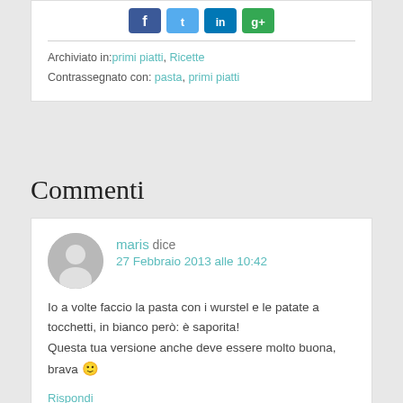[Figure (other): Social sharing icons: Facebook (blue), Twitter (blue), LinkedIn (blue), Google+ (red/green)]
Archiviato in: primi piatti, Ricette
Contrassegnato con: pasta, primi piatti
Commenti
maris dice
27 Febbraio 2013 alle 10:42
Io a volte faccio la pasta con i wurstel e le patate a tocchetti, in bianco però: è saporita!
Questa tua versione anche deve essere molto buona, brava 🙂
Rispondi